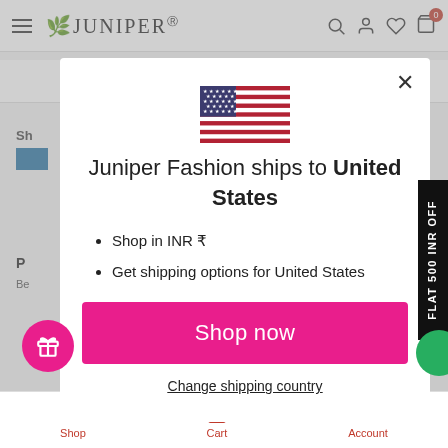[Figure (screenshot): Juniper Fashion e-commerce website with a modal popup showing country shipping selection for United States. The modal contains a US flag, text 'Juniper Fashion ships to United States', bullet points for shop in INR and shipping options, a pink 'Shop now' button, and a 'Change shipping country' link. Background shows the Juniper Fashion website with navigation bar and bottom navigation.]